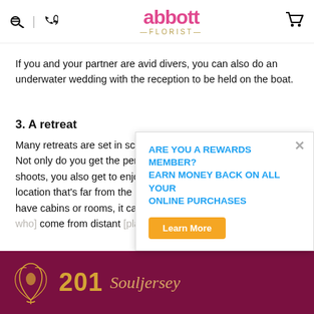abbott FLORIST
If you and your partner are avid divers, you can also do an underwater wedding with the reception to be held on the boat.
3. A retreat
Many retreats are set in scenic locations in secluded areas. Not only do you get the perfect backdrop for your wedding shoots, you also get to enjoy your wedding day in a quiet location that’s far from the crowd. And since retreats either have cabins or rooms, it can also [accommodate your guests who] come from distant [places].
ARE YOU A REWARDS MEMBER? EARN MONEY BACK ON ALL YOUR ONLINE PURCHASES
201 [Souljersey]